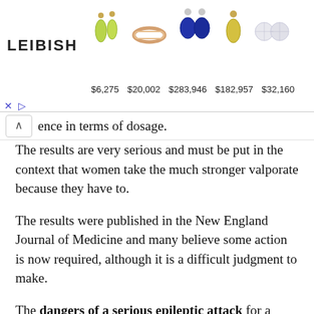[Figure (screenshot): Advertisement banner for LEIBISH jewelry showing earrings, a ring, sapphire earrings, more earrings, and diamond studs with prices $6,275  $20,002  $283,946  $182,957  $32,160]
ence in terms of dosage.
The results are very serious and must be put in the context that women take the much stronger valporate because they have to.
The results were published in the New England Journal of Medicine and many believe some action is now required, although it is a difficult judgment to make.
The dangers of a serious epileptic attack for a pregnant woman can not be underestimated. Therefore the pros and cons of continuing to take